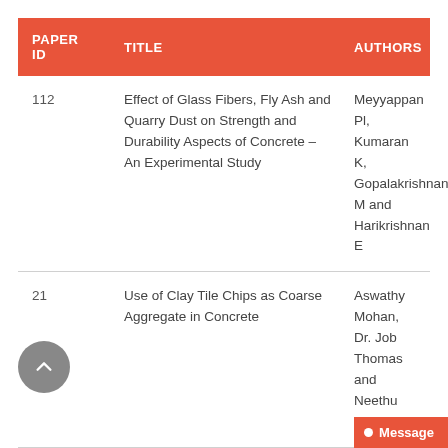| PAPER ID | TITLE | AUTHORS |
| --- | --- | --- |
| 112 | Effect of Glass Fibers, Fly Ash and Quarry Dust on Strength and Durability Aspects of Concrete – An Experimental Study | Meyyappan Pl, Kumaran K, Gopalakrishnan M and Harikrishnan E |
| 21 | Use of Clay Tile Chips as Coarse Aggregate in Concrete | Aswathy Mohan, Dr. Job Thomas and Neethu Joseph |
| 23 | Mechanical Properties of Concrete Containing Brick Chips | Christy Francis Lonth, Dr. Job Thomas and Neethu Jos… |